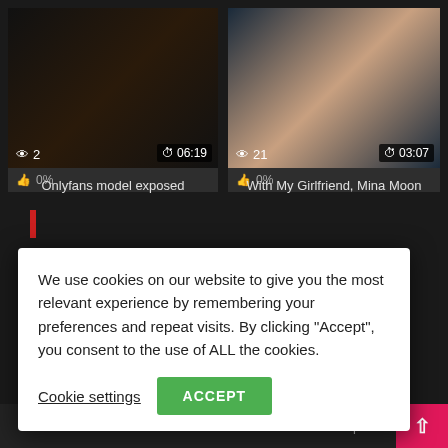[Figure (screenshot): Video thumbnail left: Onlyfans model exposed, 2 views, 06:19 duration, 0% likes]
Onlyfans model exposed
[Figure (screenshot): Video thumbnail right: With My Girlfriend, Mina Moon, 21 views, 03:07 duration, 0% likes]
With My Girlfriend, Mina Moon
We use cookies on our website to give you the most relevant experience by remembering your preferences and repeat visits. By clicking “Accept”, you consent to the use of ALL the cookies.
Cookie settings
ACCEPT
cript.com